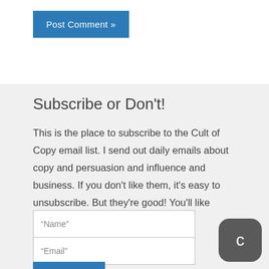Post Comment »
Subscribe or Don't!
This is the place to subscribe to the Cult of Copy email list. I send out daily emails about copy and persuasion and influence and business. If you don't like them, it's easy to unsubscribe. But they're good! You'll like them. I promise!
"Name"
"Email"